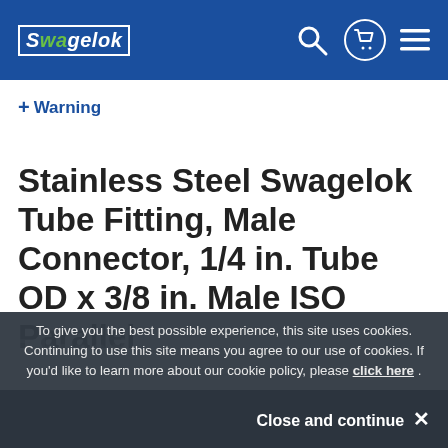Swagelok
+ Warning
Stainless Steel Swagelok Tube Fitting, Male Connector, 1/4 in. Tube OD x 3/8 in. Male ISO Parallel Thread, Straight Shoulder
To give you the best possible experience, this site uses cookies. Continuing to use this site means you agree to our use of cookies. If you'd like to learn more about our cookie policy, please click here .
Close and continue ✕